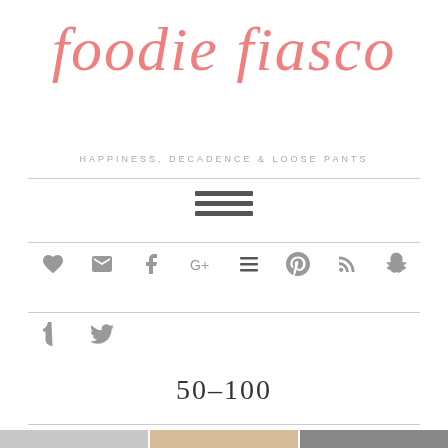Foodie Fiasco
HAPPINESS, DECADENCE & LOOSE PANTS
[Figure (other): Hamburger menu icon with three horizontal bars]
[Figure (other): Social media icons row: heart, email, facebook, google+, instagram (hamburger overlay), pinterest, rss, snapchat]
[Figure (other): Social media icons row 2: tumblr, twitter]
50–100
[Figure (photo): Three small food photos at bottom of page]